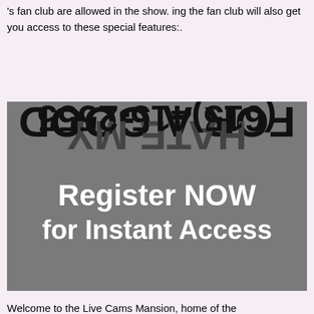's fan club are allowed in the show. ing the fan club will also get you access to these special features:.
[Figure (photo): Gray background image with mirrored/flipped bold black text reading 'FOR A GOOD' at top and '(615)415-2555' at bottom, with white overlay text reading 'Register NOW for Instant Access' in the middle. The black text appears upside-down and mirrored.]
Welcome to the Live Cams Mansion, home of the